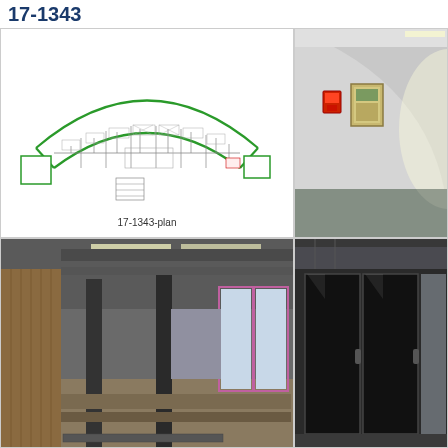17-1343
[Figure (engineering-diagram): Curved arc-shaped floor plan of property 17-1343 with room labels and green boundary outline]
17-1343-plan
[Figure (photo): Interior corridor photo showing curved white wall with red fire alarm box and framed artwork, green/gray flooring]
[Figure (photo): Interior photo of large open floor space with exposed ceiling, columns, strip lighting, and windows along one wall]
[Figure (photo): Interior photo showing dark glass doors or panels in a commercial space]